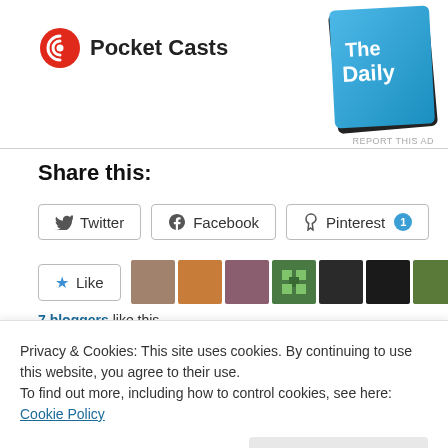[Figure (logo): Pocket Casts logo with red circular icon and bold text 'Pocket Casts']
[Figure (illustration): The Daily podcast card graphic, blue gradient with white text 'The Daily', partially rotated]
REPORT THIS AD
Share this:
Twitter  Facebook  Pinterest 1
Like
7 bloggers like this.
Related
Privacy & Cookies: This site uses cookies. By continuing to use this website, you agree to their use.
To find out more, including how to control cookies, see here: Cookie Policy
Close and accept